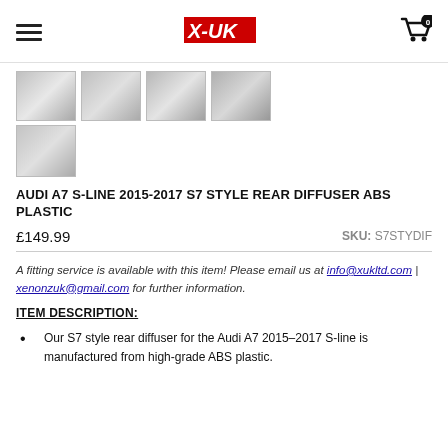X-UK (logo)
[Figure (photo): Four thumbnail images of Audi A7 S7 style rear diffuser ABS plastic product from various angles]
[Figure (photo): One additional thumbnail image of the rear diffuser product from another angle]
AUDI A7 S-LINE 2015-2017 S7 STYLE REAR DIFFUSER ABS PLASTIC
£149.99   SKU: S7STYDIF
A fitting service is available with this item! Please email us at info@xukltd.com | xenonzuk@gmail.com for further information.
ITEM DESCRIPTION:
Our S7 style rear diffuser for the Audi A7 2015-2017 S-line is manufactured from high-grade ABS plastic.